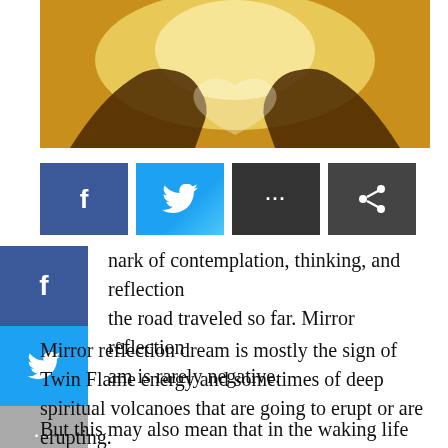[Figure (photo): A warm golden-lit photo showing hands forming a heart shape against a bright backlit sky]
[Figure (infographic): Social media share buttons: Facebook (blue f), Twitter (blue bird), dots/more, and share icon]
[Figure (infographic): Sidebar social share icons: Facebook blue, Twitter blue, more dots gray]
nark of contemplation, thinking, and reflection the road traveled so far. Mirror reflection am is rarely negative.
Mirror reflection dream is mostly the sign of Twin Flame energy and sometimes of deep spiritual volcanoes that are going to erupt or are erupting.
But this may also mean that in the waking life the